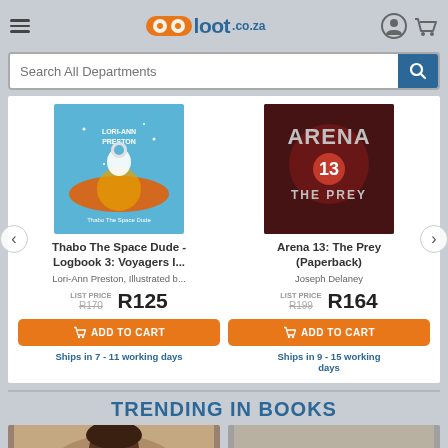loot.co.za
Search All Departments
[Figure (screenshot): Book cover: Thabo The Space Dude - Logbook 3: Voyagers, showing a child astronaut floating in space]
Thabo The Space Dude - Logbook 3: Voyagers I...
Lori-Ann Preston, Illustrated b...
LIST PRICE R170  R125
ADD TO CART
Ships in 7 - 11 working days
[Figure (screenshot): Book cover: Arena 13: The Prey, dark fantasy cover with title in large letters]
Arena 13: The Prey (Paperback)
Joseph Delaney
LIST PRICE R199  R164
ADD TO CART
Ships in 9 - 15 working days
TRENDING IN BOOKS